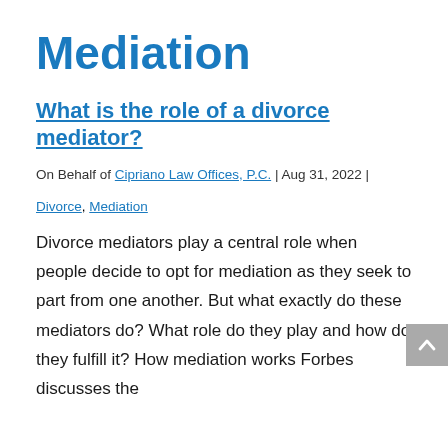Mediation
What is the role of a divorce mediator?
On Behalf of Cipriano Law Offices, P.C. | Aug 31, 2022 |
Divorce, Mediation
Divorce mediators play a central role when people decide to opt for mediation as they seek to part from one another. But what exactly do these mediators do? What role do they play and how do they fulfill it? How mediation works Forbes discusses the